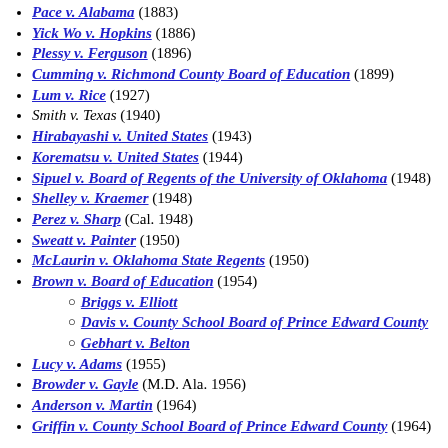Pace v. Alabama (1883)
Yick Wo v. Hopkins (1886)
Plessy v. Ferguson (1896)
Cumming v. Richmond County Board of Education (1899)
Lum v. Rice (1927)
Smith v. Texas (1940)
Hirabayashi v. United States (1943)
Korematsu v. United States (1944)
Sipuel v. Board of Regents of the University of Oklahoma (1948)
Shelley v. Kraemer (1948)
Perez v. Sharp (Cal. 1948)
Sweatt v. Painter (1950)
McLaurin v. Oklahoma State Regents (1950)
Brown v. Board of Education (1954)
Briggs v. Elliott
Davis v. County School Board of Prince Edward County
Gebhart v. Belton
Lucy v. Adams (1955)
Browder v. Gayle (M.D. Ala. 1956)
Anderson v. Martin (1964)
Griffin v. County School Board of Prince Edward County (1964)